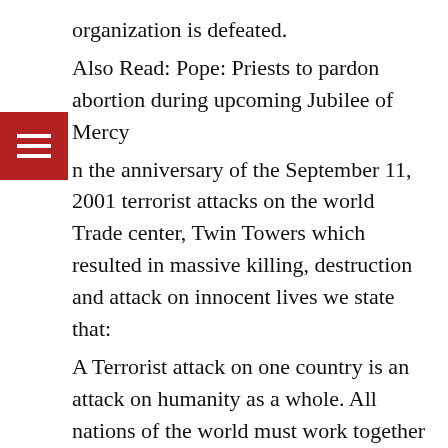organization is defeated.
Also Read: Pope: Priests to pardon abortion during upcoming Jubilee of Mercy
n the anniversary of the September 11, 2001 terrorist attacks on the world Trade center, Twin Towers which resulted in massive killing, destruction and attack on innocent lives we state that:
A Terrorist attack on one country is an attack on humanity as a whole. All nations of the world must work together to identify the perpetrators and bring them to justice.
We condemn in the strongest terms, the incident which are against all human and Islamic norms. This is grounded in the Noble Laws of Islam